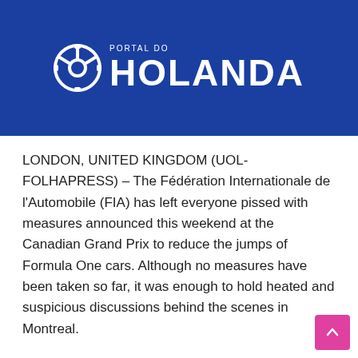[Figure (logo): Portal do Holanda logo — white gear/steering wheel icon and bold white text 'PORTAL DO HOLANDA' on dark blue background]
LONDON, UNITED KINGDOM (UOL-FOLHAPRESS) – The Fédération Internationale de l'Automobile (FIA) has left everyone pissed with measures announced this weekend at the Canadian Grand Prix to reduce the jumps of Formula One cars. Although no measures have been taken so far, it was enough to hold heated and suspicious discussions behind the scenes in Montreal.
Even Toto Wolff drifted away at the team bosses meeting on Saturday, in a discussion that started more generally and then focused on Christian Horner and Mattia Binotto